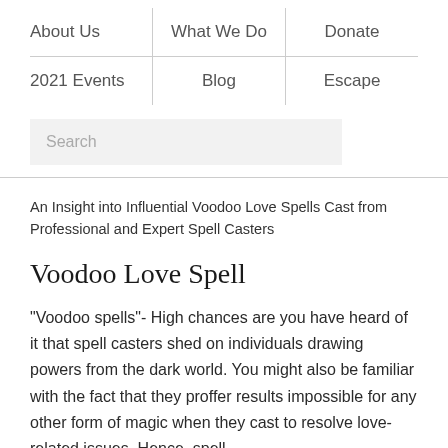About Us | What We Do | Donate
2021 Events | Blog | Escape
Search
An Insight into Influential Voodoo Love Spells Cast from Professional and Expert Spell Casters
Voodoo Love Spell
“Voodoo spells”- High chances are you have heard of it that spell casters shed on individuals drawing powers from the dark world. You might also be familiar with the fact that they proffer results impossible for any other form of magic when they cast to resolve love-related issues. Hence, spell